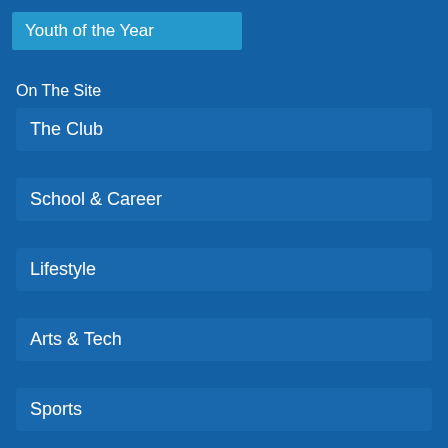Youth of the Year
On The Site
The Club
School & Career
Lifestyle
Arts & Tech
Sports
Games & Quizzes
Resources
MCML Partners